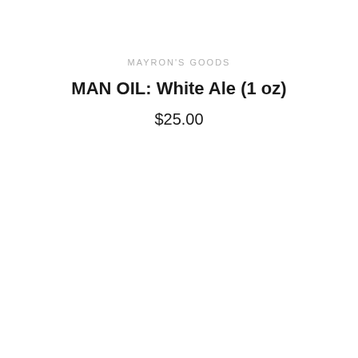MAYRON'S GOODS
MAN OIL: White Ale (1 oz)
$25.00